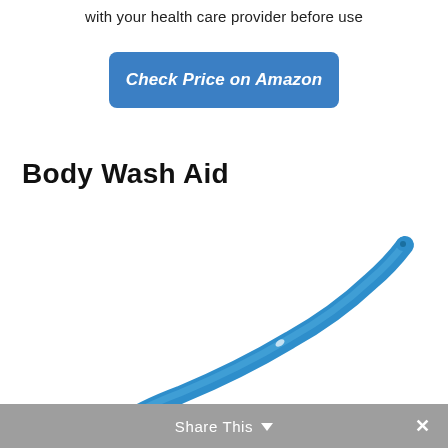with your health care provider before use
Check Price on Amazon
Body Wash Aid
[Figure (photo): A long-handled body wash aid with a blue curved handle and yellow ribbed grip at the bottom end, used as a bathing assistive device.]
Share This  ×